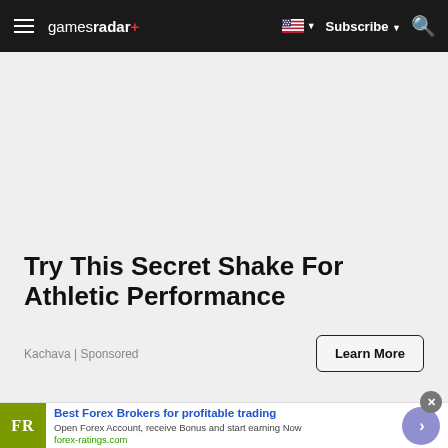gamesradar+ | Subscribe | Search
Try This Secret Shake For Athletic Performance
Kachava | Sponsored
Learn More
[Figure (screenshot): Bottom banner advertisement for forex-ratings.com with FR logo, headline 'Best Forex Brokers for profitable trading', subtext 'Open Forex Account, receive Bonus and start earning Now', link 'forex-ratings.com', and a circular arrow CTA button]